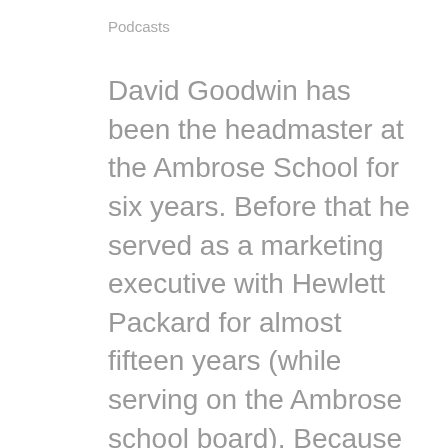Podcasts
David Goodwin has been the headmaster at the Ambrose School for six years. Before that he served as a marketing executive with Hewlett Packard for almost fifteen years (while serving on the Ambrose school board). Because of his extensive marketing experience, David is one of those rare school heads who brings a keen sense of what it takes to grow and market a classical school as an organization. You might think that if he brings business acumen to a school's operation that he must be an academic lightweight–but you would be wrong. David is an avid